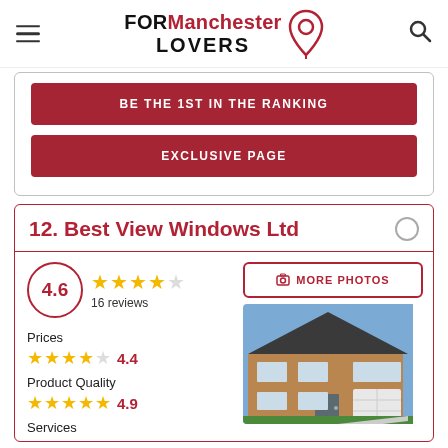FORManchester LOVERS
BE THE 1ST IN THE RANKING
EXCLUSIVE PAGE
12. Best View Windows Ltd
4.6 — 16 reviews
Prices 4.4
Product Quality 4.9
Services
[Figure (photo): Exterior photo of a brick house with white windows and garage door]